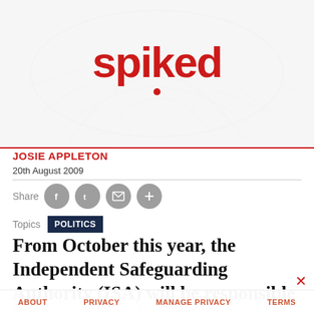[Figure (logo): Spiked online magazine logo in red bold text with a small red dot beneath, set against a grey leaf-texture background]
JOSIE APPLETON
20th August 2009
Share  [Facebook] [Twitter] [Email] [More]
Topics  POLITICS
From October this year, the Independent Safeguarding Authority (ISA) will be responsible for taking decisions about who should be barred
ABOUT   PRIVACY   MANAGE PRIVACY   TERMS